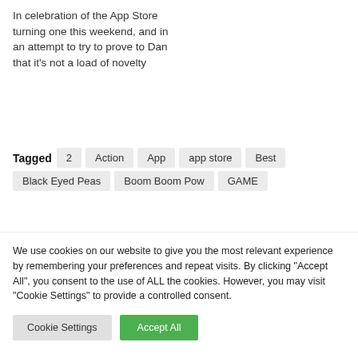In celebration of the App Store turning one this weekend, and in an attempt to try to prove to Dan that it's not a load of novelty
Tagged  2  Action  App  app store  Best  Black Eyed Peas  Boom Boom Pow  GAME
We use cookies on our website to give you the most relevant experience by remembering your preferences and repeat visits. By clicking "Accept All", you consent to the use of ALL the cookies. However, you may visit "Cookie Settings" to provide a controlled consent.